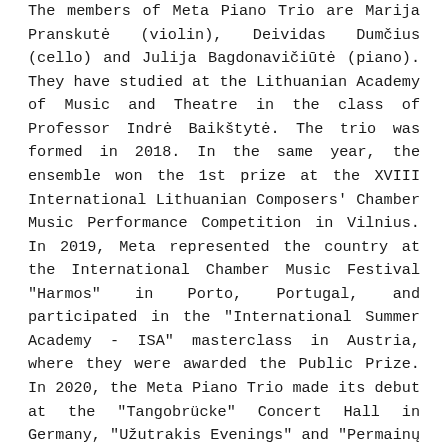The members of Meta Piano Trio are Marija Pranskutė (violin), Deividas Dumčius (cello) and Julija Bagdonavičiūtė (piano). They have studied at the Lithuanian Academy of Music and Theatre in the class of Professor Indrė Baikštytė. The trio was formed in 2018. In the same year, the ensemble won the 1st prize at the XVIII International Lithuanian Composers' Chamber Music Performance Competition in Vilnius. In 2019, Meta represented the country at the International Chamber Music Festival "Harmos" in Porto, Portugal, and participated in the "International Summer Academy - ISA" masterclass in Austria, where they were awarded the Public Prize. In 2020, the Meta Piano Trio made its debut at the "Tangobrücke" Concert Hall in Germany, "Užutrakis Evenings" and "Permainų muzika" festivals. In the same year, the Piano Trio